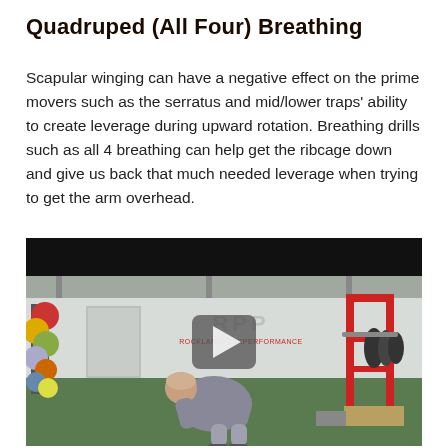Quadruped (All Four) Breathing
Scapular winging can have a negative effect on the prime movers such as the serratus and mid/lower traps' ability to create leverage during upward rotation. Breathing drills such as all 4 breathing can help get the ribcage down and give us back that much needed leverage when trying to get the arm overhead.
[Figure (photo): Video thumbnail showing a gym setting with a person in a quadruped position on the floor. Background shows medicine ball rack, red squat rack with weight plates, and a sign reading ROCKLANDPEAKPERFORMANCE. A play button overlay is visible in the center of the video.]